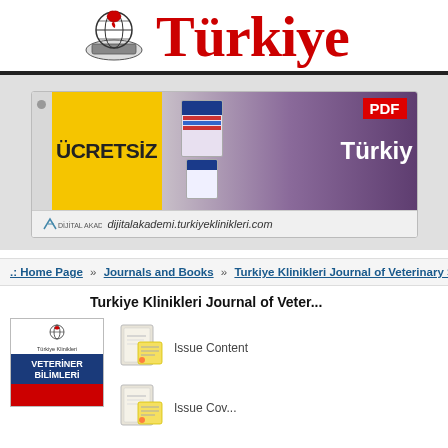[Figure (logo): Turkiye Klinikleri website header with globe/horse logo and red 'Türkiye' brand text]
[Figure (screenshot): Banner advertisement for Dijital Akademi / Turkiye Klinikleri PDF app showing 'ÜCRETSİZ PDF' and 'dijitalakademi.turkiyeklinikleri.com']
.: Home Page » Journals and Books » Turkiye Klinikleri Journal of Veterinary Sci...
Turkiye Klinikleri Journal of Veter...
[Figure (illustration): Journal cover thumbnail showing Turkiye Klinikleri Veteriner Bilimleri cover]
[Figure (illustration): Issue Content icon/button]
Issue Content
[Figure (illustration): Issue Cover icon/button]
Issue Cov...